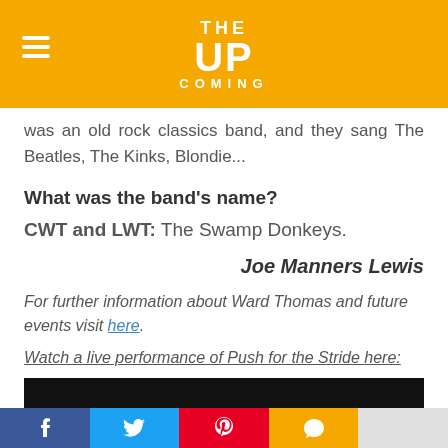THE UP COMING
was an old rock classics band, and they sang The Beatles, The Kinks, Blondie...
What was the band's name?
CWT and LWT: The Swamp Donkeys.
Joe Manners Lewis
For further information about Ward Thomas and future events visit here.
Watch a live performance of Push for the Stride here:
[Figure (screenshot): YouTube cookie consent overlay on embedded video player with text: Please accept YouTube cookies to play this video. By accepting you will be accessing content from YouTube, a service provided by an external]
f  (Twitter bird)  (Pinterest)  (Comment)